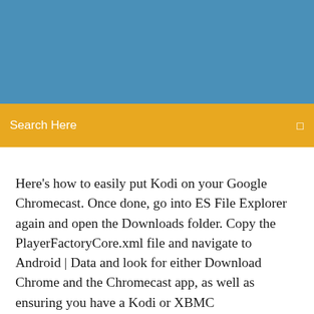[Figure (other): Blue header image/banner area at the top of the page]
Search Here
Here's how to easily put Kodi on your Google Chromecast. Once done, go into ES File Explorer again and open the Downloads folder. Copy the PlayerFactoryCore.xml file and navigate to Android | Data and look for either Download Chrome and the Chromecast app, as well as ensuring you have a Kodi or XBMC